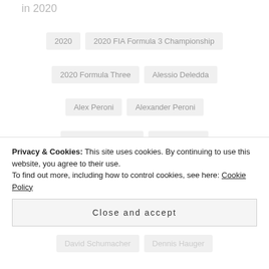in 2020
2020
2020 FIA Formula 3 Championship
2020 Formula Three
Alessio Deledda
Alex Peroni
Alexander Peroni
Alexander Smolyar
Ann Webber
ART Grand Prix
Bahrain
Barcelona
Bent Viscaal
Calan Williams
Cameron Das
Privacy & Cookies: This site uses cookies. By continuing to use this website, you agree to their use.
To find out more, including how to control cookies, see here: Cookie Policy
Close and accept
David Schumacher
Dennis Hauger